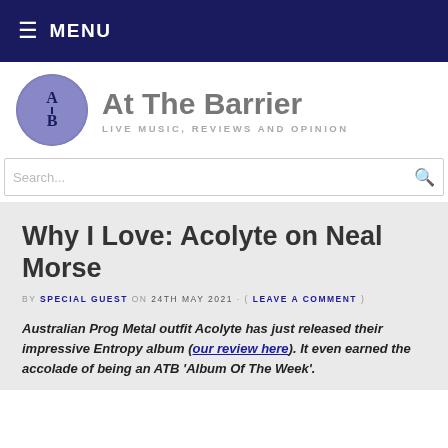☰ MENU
At The Barrier
LIVE MUSIC, REVIEWS AND OPINION
Search...
Why I Love: Acolyte on Neal Morse
BY SPECIAL GUEST ON 24TH MAY 2021 · ( LEAVE A COMMENT )
Australian Prog Metal outfit Acolyte has just released their impressive Entropy album (our review here). It even earned the accolade of being an ATB 'Album Of The Week'.